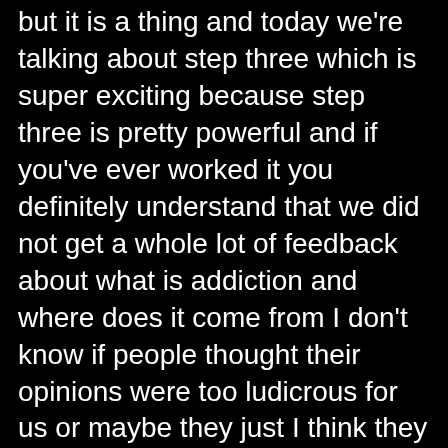but it is a thing and today we're talking about step three which is super exciting because step three is pretty powerful and if you've ever worked it you definitely understand that we did not get a whole lot of feedback about what is addiction and where does it come from I don't know if people thought their opinions were too ludicrous for us or maybe they just I think they all liked my personal theory and so they just figured there was no point in commenting but we do want to talk about step three so that there's a lot to talk about it's a great step let's jump right into it so step three if you've never heard of it is made a decision to turn our will in our lives over to the care of God as we understood him and of course if you are of the NA variety that is we made a decision because we like